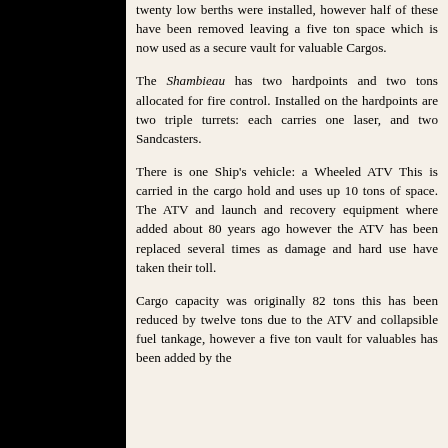twenty low berths were installed, however half of these have been removed leaving a five ton space which is now used as a secure vault for valuable Cargos.
The Shambieau has two hardpoints and two tons allocated for fire control. Installed on the hardpoints are two triple turrets: each carries one laser, and two Sandcasters.
There is one Ship's vehicle: a Wheeled ATV This is carried in the cargo hold and uses up 10 tons of space. The ATV and launch and recovery equipment where added about 80 years ago however the ATV has been replaced several times as damage and hard use have taken their toll.
Cargo capacity was originally 82 tons this has been reduced by twelve tons due to the ATV and collapsible fuel tankage, however a five ton vault for valuables has been added by the